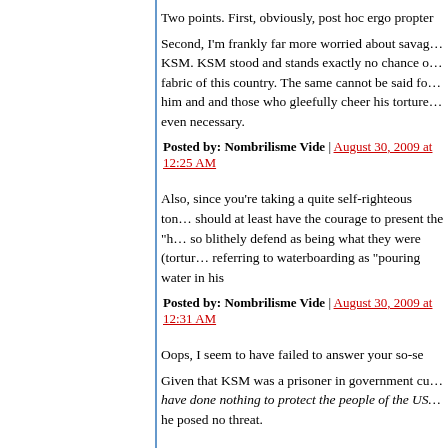Two points. First, obviously, post hoc ergo propter
Second, I'm frankly far more worried about savag... KSM. KSM stood and stands exactly no chance c... fabric of this country. The same cannot be said fo... him and and those who gleefully cheer his torture... even necessary.
Posted by: Nombrilisme Vide | August 30, 2009 at 12:25 AM
Also, since you're taking a quite self-righteous ton... should at least have the courage to present the "h... so blithely defend as being what they were (tortur... referring to waterboarding as "pouring water in his
Posted by: Nombrilisme Vide | August 30, 2009 at 12:31 AM
Oops, I seem to have failed to answer your so-se
Given that KSM was a prisoner in government cu... have done nothing to protect the people of the US... he posed no threat.